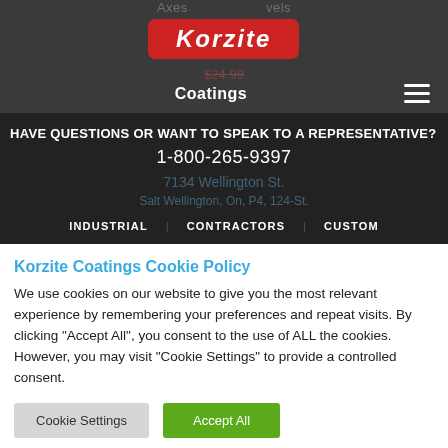[Figure (logo): Korzite logo - red hexagon badge with white italic bold text 'Korzite']
Coatings
HAVE QUESTIONS OR WANT TO SPEAK TO A REPRESENTATIVE?
1-800-265-9397
INDUSTRIAL   CONTRACTORS   CUSTOM
Korzite Coatings Cookie Policy
We use cookies on our website to give you the most relevant experience by remembering your preferences and repeat visits. By clicking "Accept All", you consent to the use of ALL the cookies. However, you may visit "Cookie Settings" to provide a controlled consent.
Cookie Settings   Accept All